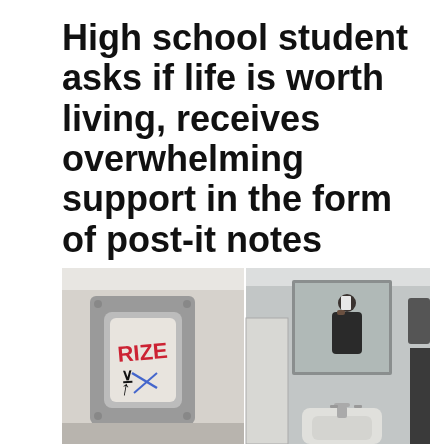High school student asks if life is worth living, receives overwhelming support in the form of post-it notes
[Figure (photo): Two side-by-side bathroom photos: left shows a metal paper towel dispenser with graffiti reading 'RIZE' in red and black with blue accents; right shows a person taking a mirror selfie in a tiled bathroom with a sink visible in the foreground.]